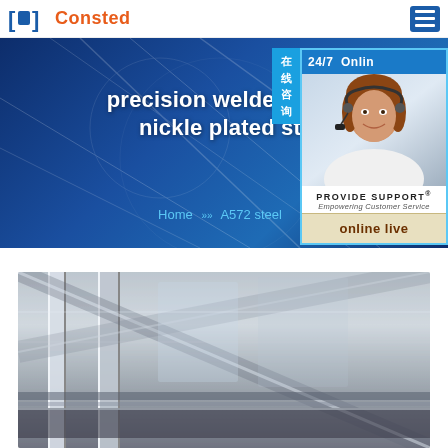[Figure (logo): Consted company logo with blue bracket icon and orange text]
[Figure (other): Hamburger menu icon in blue]
precision welded dec nickle plated st
Home » A572 steel
[Figure (other): 24/7 Online support widget with customer service representative photo, PROVIDE SUPPORT branding, and online live button. Chinese tab reading 在线咨询]
[Figure (photo): Industrial steel/metal construction photo showing structural beams or panels]